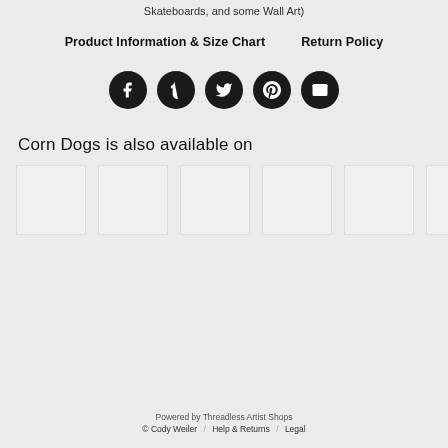Skateboards, and some Wall Art)
Product Information & Size Chart    Return Policy
[Figure (infographic): Row of 5 social media icons (Facebook, Tumblr, Twitter, Pinterest, Email) as dark circular buttons]
Corn Dogs is also available on
[Figure (infographic): Row of 6 white/light grey product thumbnail placeholder images]
Powered by Threadless Artist Shops
© Cody Weiler  /  Help & Returns  /  Legal